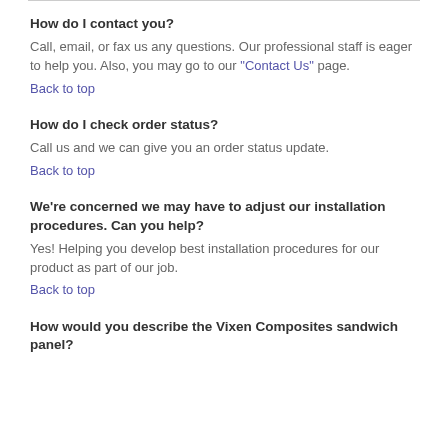How do I contact you?
Call, email, or fax us any questions. Our professional staff is eager to help you. Also, you may go to our “Contact Us” page.
Back to top
How do I check order status?
Call us and we can give you an order status update.
Back to top
We’re concerned we may have to adjust our installation procedures. Can you help?
Yes! Helping you develop best installation procedures for our product as part of our job.
Back to top
How would you describe the Vixen Composites sandwich panel?